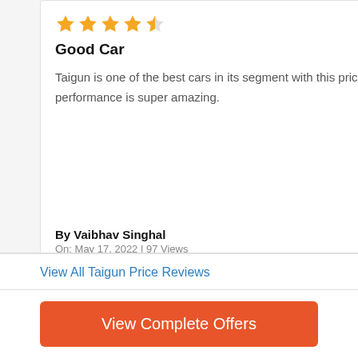[Figure (other): Review card 1: 4.5 star rating, title 'Good Car', review text about Taigun, reviewer By Vaibhav Singhal, On: May 17, 2022 | 97 Views]
[Figure (other): Review card 2 (partially visible): 4.5 star rating, title 'Best Car For A', review text starting 'Good in comfort,...', reviewer By Rahul Vaishnav, On: Apr 29, 2022 | 98...]
View All Taigun Price Reviews
View Complete Offers